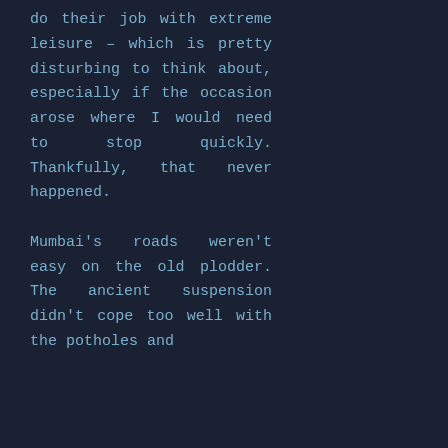do their job with extreme leisure – which is pretty disturbing to think about, especially if the occasion arose where I would need to stop quickly. Thankfully, that never happened.

Mumbai's roads weren't easy on the old plodder. The ancient suspension didn't cope too well with the potholes and